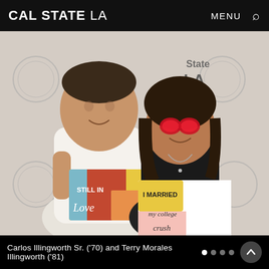CAL STATE LA   MENU 🔍
[Figure (photo): A man in a white shirt holding a colorful 'STILL IN Love' sign and a woman in a black dress wearing red heart-shaped glasses holding a 'I MARRIED my college crush' sign, posing in front of a Cal State LA step-and-repeat banner backdrop.]
Carlos Illingworth Sr. ('70) and Terry Morales Illingworth ('81)